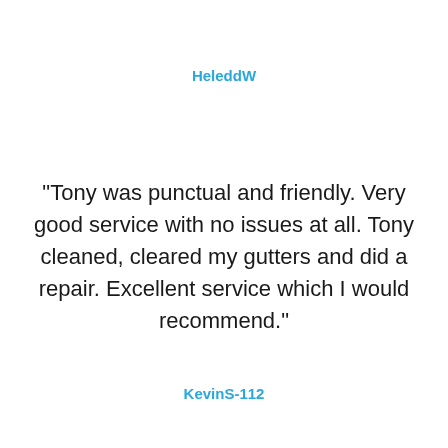HeleddW
"Tony was punctual and friendly. Very good service with no issues at all. Tony cleaned, cleared my gutters and did a repair. Excellent service which I would recommend."
KevinS-112